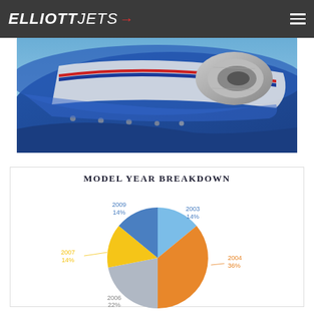ELLIOTT JETS
[Figure (photo): Close-up aerial photo of a private jet wing with blue fuselage, red and white stripes, and engine visible against blue sky]
[Figure (pie-chart): MODEL YEAR BREAKDOWN]